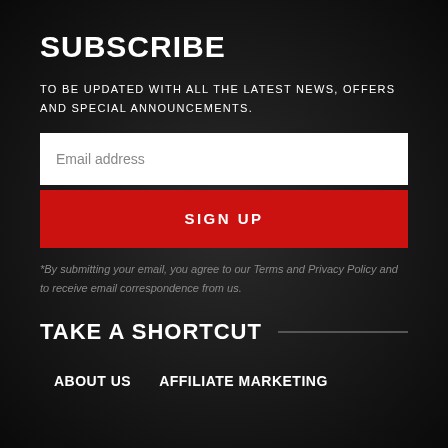SUBSCRIBE
TO BE UPDATED WITH ALL THE LATEST NEWS, OFFERS AND SPECIAL ANNOUNCEMENTS.
[Figure (other): Email address input field (white rectangle with placeholder text 'Email address')]
SIGN UP
*By submitting your email, you agree to our Terms and Privacy Policy and to receive email correspondence from us.
TAKE A SHORTCUT
ABOUT US
AFFILIATE MARKETING